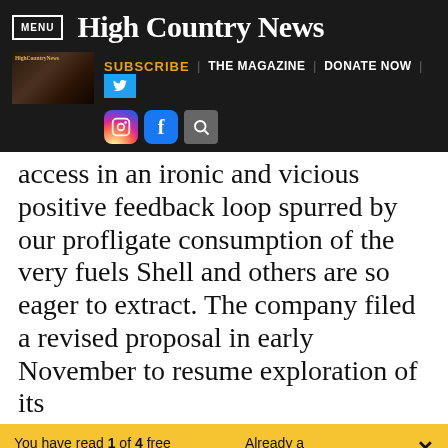MENU | High Country News
SUBSCRIBE | THE MAGAZINE | DONATE NOW
access in an ironic and vicious positive feedback loop spurred by our profligate consumption of the very fuels Shell and others are so eager to extract. The company filed a revised proposal in early November to resume exploration of its
You have read 1 of 4 free articles this month. Already a subscriber? Log in. ×
Support independent journalism. Subscribe